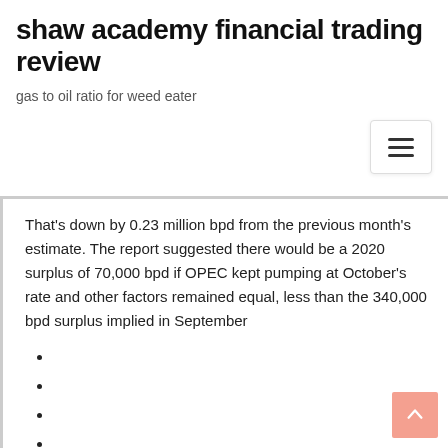shaw academy financial trading review
gas to oil ratio for weed eater
That's down by 0.23 million bpd from the previous month's estimate. The report suggested there would be a 2020 surplus of 70,000 bpd if OPEC kept pumping at October's rate and other factors remained equal, less than the 340,000 bpd surplus implied in September